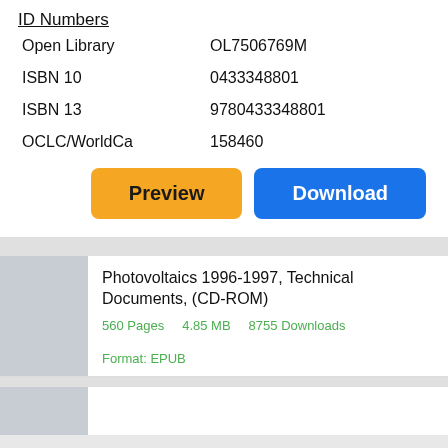ID Numbers
|  |  |
| --- | --- |
| Open Library | OL7506769M |
| ISBN 10 | 0433348801 |
| ISBN 13 | 9780433348801 |
| OCLC/WorldCa | 158460 |
Preview   Download
Photovoltaics 1996-1997, Technical Documents, (CD-ROM)
560 Pages   4.85 MB   8755 Downloads   Format: EPUB